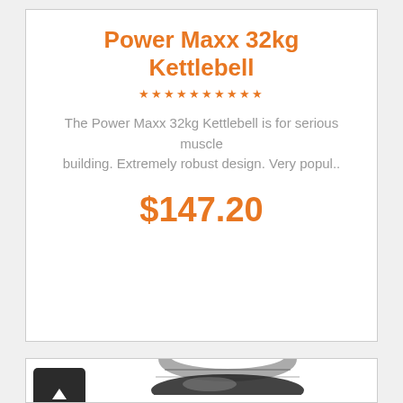Power Maxx 32kg Kettlebell
The Power Maxx 32kg Kettlebell is for serious muscle building. Extremely robust design. Very popul..
$147.20
[Figure (photo): Bottom portion of a shiny black kettlebell with chrome handle visible at bottom of page]